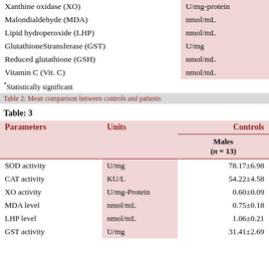| Parameter | Units |
| --- | --- |
| Xanthine oxidase (XO) | U/mg-protein |
| Malondialdehyde (MDA) | nmol/mL |
| Lipid hydroperoxide (LHP) | nmol/mL |
| GlutathioneStransferase (GST) | U/mg |
| Reduced glutathione (GSH) | nmol/mL |
| Vitamin C (Vit. C) | nmol/mL |
*Statistically significant
Table 2: Mean comparison between controls and patients
Table: 3
| Parameters | Units | Controls Males (n = 13) |
| --- | --- | --- |
| SOD activity | U/mg | 78.17±6.98 |
| CAT activity | KU/L | 54.22±4.58 |
| XO activity | U/mg-Protein | 0.60±0.09 |
| MDA level | nmol/mL | 0.75±0.18 |
| LHP level | nmol/mL | 1.06±0.21 |
| GST activity | U/mg | 31.41±2.69 |